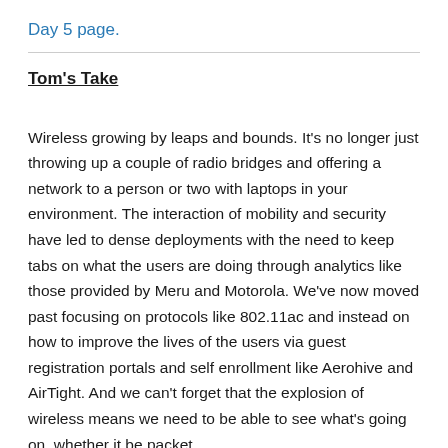Day 5 page.
Tom's Take
Wireless growing by leaps and bounds. It's no longer just throwing up a couple of radio bridges and offering a network to a person or two with laptops in your environment. The interaction of mobility and security have led to dense deployments with the need to keep tabs on what the users are doing through analytics like those provided by Meru and Motorola. We've now moved past focusing on protocols like 802.11ac and instead on how to improve the lives of the users via guest registration portals and self enrollment like Aerohive and AirTight. And we can't forget that the explosion of wireless means we need to be able to see what's going on, whether it be packet